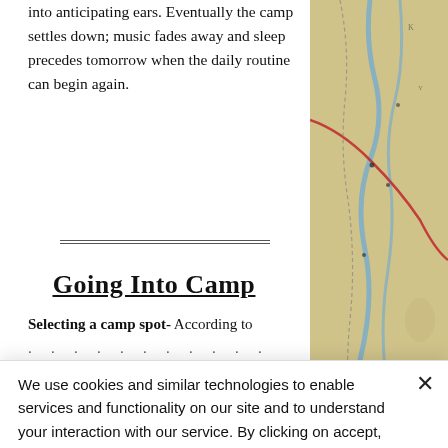into anticipating ears. Eventually the camp settles down; music fades away and sleep precedes tomorrow when the daily routine can begin again.
[Figure (map): A partial view of a historical map showing rivers, roads, and geographic boundaries with hand-drawn cartographic style in muted yellows, greens, and a red boundary line.]
Going Into Camp
Selecting a camp spot- According to
We use cookies and similar technologies to enable services and functionality on our site and to understand your interaction with our service. By clicking on accept, you agree to our use of such technologies for marketing and analytics.